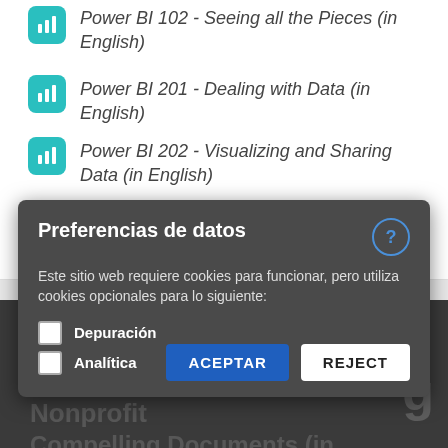Power BI 102 - Seeing all the Pieces (in English)
Power BI 201 - Dealing with Data (in English)
Power BI 202 - Visualizing and Sharing Data (in English)
VER DETALLES
[Figure (screenshot): Cookie consent dialog overlay on dark background with title 'Preferencias de datos', body text about cookies, checkboxes for Depuración and Analítica, and ACEPTAR/REJECT buttons. Dark section behind shows partially visible text 'Nonprofit' and 'Compelling Documents (in'.]
Preferencias de datos
Este sitio web requiere cookies para funcionar, pero utiliza cookies opcionales para lo siguiente:
Depuración
Analítica